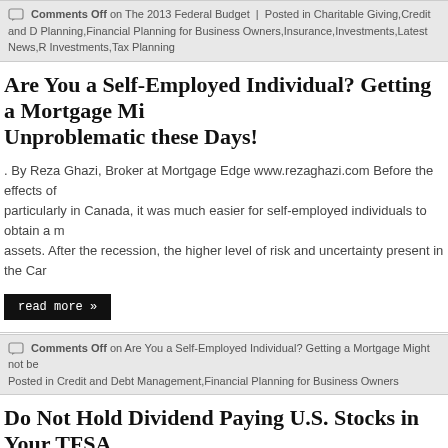Comments Off on The 2013 Federal Budget | Posted in Charitable Giving,Credit and Debt Planning,Financial Planning for Business Owners,Insurance,Investments,Latest News,Retirement Investments,Tax Planning
Are You a Self-Employed Individual? Getting a Mortgage Might be Unproblematic these Days!
. By Reza Ghazi, Broker at Mortgage Edge www.rezaghazi.com Before the effects of particularly in Canada, it was much easier for self-employed individuals to obtain a mortgage on assets. After the recession, the higher level of risk and uncertainty present in the Ca...
read more »
Comments Off on Are You a Self-Employed Individual? Getting a Mortgage Might not be... Posted in Credit and Debt Management,Financial Planning for Business Owners
Do Not Hold Dividend Paying U.S. Stocks in Your TFSA
We are still in the early days of TFSAs and all sorts of confusion about the rules that not only among tax payers but also among financial advisors. Recently, 70,000 out of have set up ...
read more »